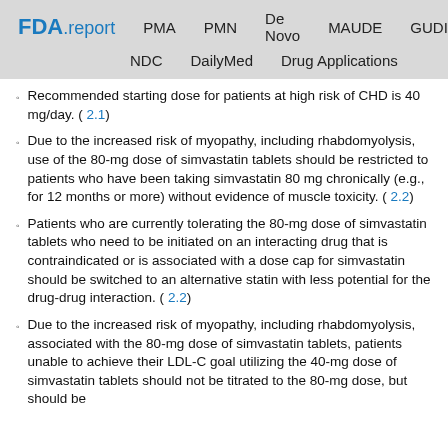FDA.report  PMA  PMN  De Novo  MAUDE  GUDID  NDC  DailyMed  Drug Applications
Recommended starting dose for patients at high risk of CHD is 40 mg/day. ( 2.1)
Due to the increased risk of myopathy, including rhabdomyolysis, use of the 80-mg dose of simvastatin tablets should be restricted to patients who have been taking simvastatin 80 mg chronically (e.g., for 12 months or more) without evidence of muscle toxicity. ( 2.2)
Patients who are currently tolerating the 80-mg dose of simvastatin tablets who need to be initiated on an interacting drug that is contraindicated or is associated with a dose cap for simvastatin should be switched to an alternative statin with less potential for the drug-drug interaction. ( 2.2)
Due to the increased risk of myopathy, including rhabdomyolysis, associated with the 80-mg dose of simvastatin tablets, patients unable to achieve their LDL-C goal utilizing the 40-mg dose of simvastatin tablets should not be titrated to the 80-mg dose, but should be